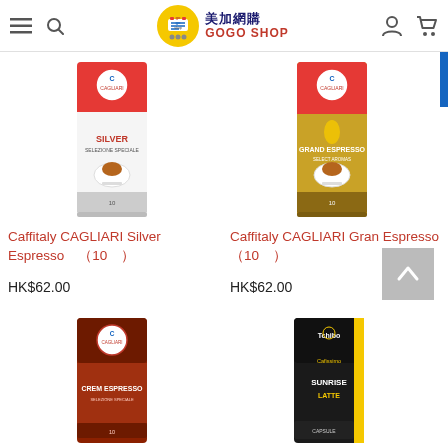美加網購 GOGO SHOP
[Figure (photo): Caffitaly CAGLIARI Silver Espresso capsule box (red/white, 10 capsules)]
Caffitaly CAGLIARI Silver Espresso（10 ）
HK$62.00
[Figure (photo): Caffitaly CAGLIARI Gran Espresso capsule box (red/gold, 10 capsules)]
Caffitaly CAGLIARI Gran Espresso（10 ）
HK$62.00
[Figure (photo): Caffitaly CAGLIARI Crem Espresso capsule box (dark red/brown)]
[Figure (photo): Tchibo Cafissimo Sunrise Latte capsule box (black/yellow)]